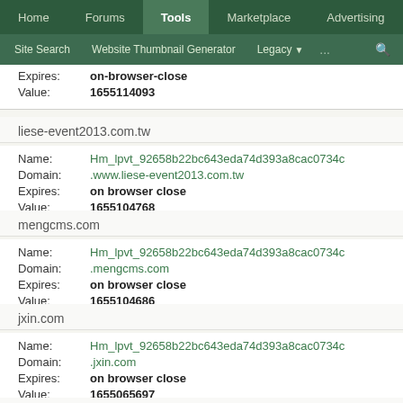Home | Forums | Tools | Marketplace | Advertising
Site Search | Website Thumbnail Generator | Legacy | ...
Expires: on-browser-close
Value: 1655114093
liese-event2013.com.tw
Name: Hm_lpvt_92658b22bc643eda74d393a8cac0734c
Domain: .www.liese-event2013.com.tw
Expires: on browser close
Value: 1655104768
mengcms.com
Name: Hm_lpvt_92658b22bc643eda74d393a8cac0734c
Domain: .mengcms.com
Expires: on browser close
Value: 1655104686
jxin.com
Name: Hm_lpvt_92658b22bc643eda74d393a8cac0734c
Domain: .jxin.com
Expires: on browser close
Value: 1655065697
pe-bancai.com